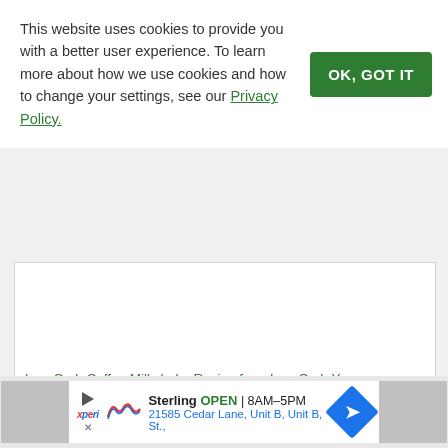This website uses cookies to provide you with a better user experience. To learn more about how we use cookies and how to change your settings, see our Privacy Policy.
[Figure (screenshot): White empty content area inside a bordered box]
Low Carb Coffee Milkshake Recipe from Low Carb Yum
[Figure (screenshot): Advertisement bar for Sterling, showing OPEN 8AM-5PM, 21585 Cedar Lane, Unit B, Unit B, St., with navigation arrow icon and Xperi/radio logo]